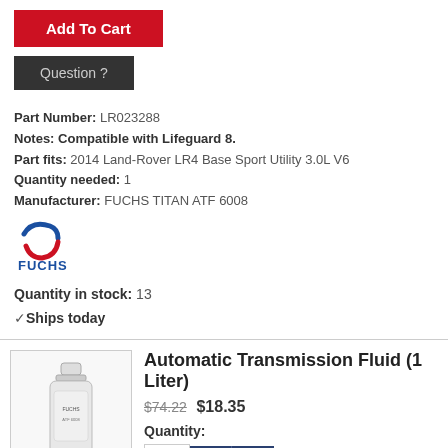Add To Cart
Question ?
Part Number: LR023288
Notes: Compatible with Lifeguard 8.
Part fits: 2014 Land-Rover LR4 Base Sport Utility 3.0L V6
Quantity needed: 1
Manufacturer: FUCHS TITAN ATF 6008
[Figure (logo): FUCHS brand logo with red and blue swirl and FUCHS text]
Quantity in stock: 13
✓Ships today
Automatic Transmission Fluid (1 Liter)
$74.22 $18.35
Quantity:
Add To Cart
Question ?